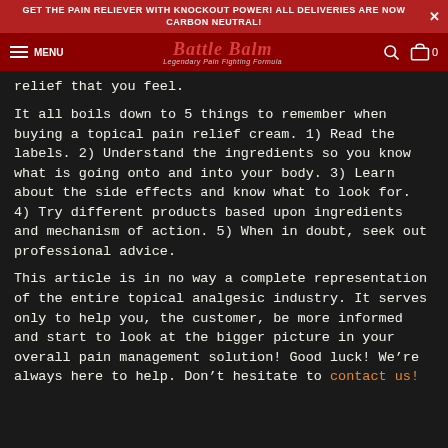GET THE PAIN RELIEVER WITH KNOCKOUT POWER! ALL DELIVERIES ARE NOW CARBON NEUTRAL!
Battle Balm — Legendary Pain Fighting Formula | MENU | Search | Cart 0
relief that you feel.
It all boils down to 5 things to remember when buying a topical pain relief cream. 1) Read the labels. 2) Understand the ingredients so you know what is going onto and into your body. 3) Learn about the side effects and know what to look for. 4) Try different products based upon ingredients and mechanism of action. 5) When in doubt, seek out professional advice.
This article is in no way a complete representation of the entire topical analgesic industry. It serves only to help you, the customer, be more informed and start to look at the bigger picture in your overall pain management solution! Good luck! We’re always here to help. Don’t hesitate to contact us!